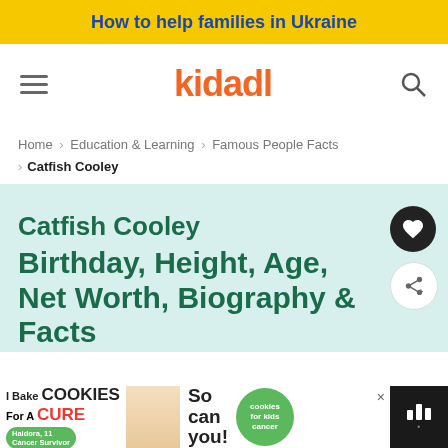How to help families in Ukraine
[Figure (logo): Kidadl logo with hamburger menu and search icon]
Home > Education & Learning > Famous People Facts > Catfish Cooley
Catfish Cooley Birthday, Height, Age, Net Worth, Biography & Facts
[Figure (infographic): Advertisement banner: I Bake COOKIES For A CURE - Haldora, 11 Cancer Survivor - So can you! - cookies for kids cancer]